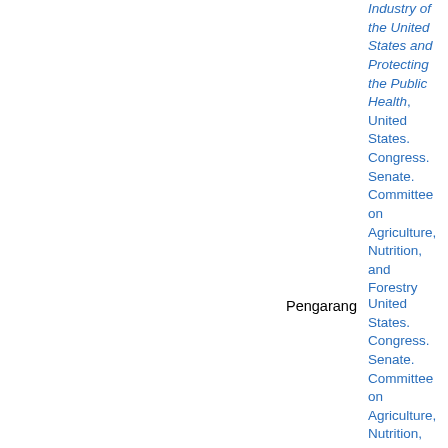Industry of the United States and Protecting the Public Health, United States. Congress. Senate. Committee on Agriculture, Nutrition, and Forestry United States. Congress. Senate. Committee on Agriculture, Nutrition,
Pengarang